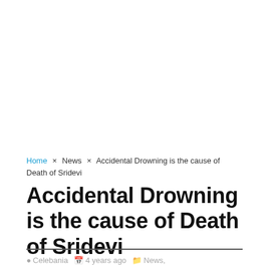Home × News × Accidental Drowning is the cause of Death of Sridevi
Accidental Drowning is the cause of Death of Sridevi
Celebania  4 years ago  News,